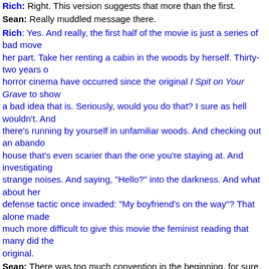Rich: Right. This version suggests that more than the first.
Sean: Really muddled message there.
Rich: Yes. And really, the first half of the movie is just a series of bad moves on her part. Take her renting a cabin in the woods by herself. Thirty-two years of horror cinema have occurred since the original I Spit on Your Grave to show what a bad idea that is. Seriously, would you do that? I sure as hell wouldn't. And there's running by yourself in unfamiliar woods. And checking out an abandoned house that's even scarier than the one you're staying at. And investigating strange noises. And saying, "Hello?" into the darkness. And what about her defense tactic once invaded: "My boyfriend's on the way"? That alone made it much more difficult to give this movie the feminist reading that many did the original.
Sean: There was too much convention in the beginning, for sure. The original doesn't have much of that. It feels more alien. Did you think there was any intentional philosophy at work other than, "How rad is this kill scene, bro," in the last half, after she is done being brutalized and seeks her revenge?
Rich: I think it's intended as catharsis for the viewer. However, it's a lopsided payoff. If we're following the supposedly gritty realism of the first half, it makes little rational sense. There's no gritty realism in having your raped woman character turn into a strange amalgamation of a Japanese ghost girl and Jig...
Sean: I don't understand why they humanized the sheriff character at all.
Rich: Oh! I loved that, actually!
Sean: He's shown with a pregnant wife, and an "angel" daughter.
Rich: I loved that he got that call from his daughter during the rape. That f...